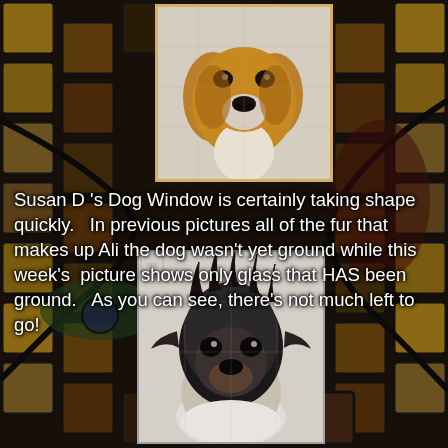[Figure (photo): A stained glass mosaic background with colorful tiles in browns, reds, greens and black leading. In the upper center area, a photo of a dog portrait artwork in progress showing a dog's head (Ali the dog) - brown and white coloring, painted on glass. In the lower center, a photo of a shaggy dark-furred dog portrait artwork on glass, showing the full face and upper body of a small fluffy dog.]
Susan D 's Dog Window is certainly taking shape quickly.   In previous pictures all of the fur that makes up Ali the dog wasn't yet ground while this week's  picture shows only glass that HAS been ground.   As you can see, there's not much left to go!